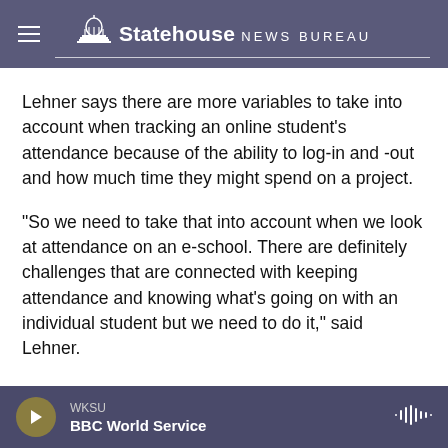Statehouse NEWS BUREAU
Lehner says there are more variables to take into account when tracking an online student’s attendance because of the ability to log-in and -out and how much time they might spend on a project.
“So we need to take that into account when we look at attendance on an e-school. There are definitely challenges that are connected with keeping attendance and knowing what’s going on with an individual student but we need to do it,” said Lehner.
WKSU
BBC World Service